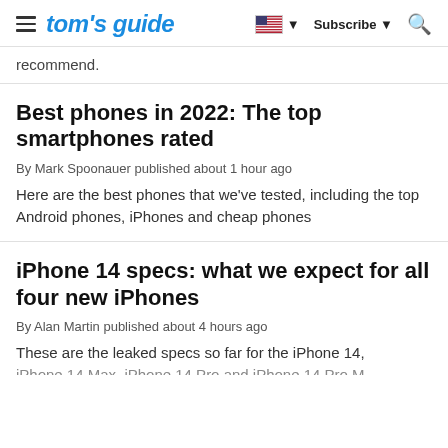tom's guide | Subscribe
recommend.
Best phones in 2022: The top smartphones rated
By Mark Spoonauer published about 1 hour ago
Here are the best phones that we've tested, including the top Android phones, iPhones and cheap phones
iPhone 14 specs: what we expect for all four new iPhones
By Alan Martin published about 4 hours ago
These are the leaked specs so far for the iPhone 14, iPhone 14 Max, iPhone 14 Pro and iPhone 14 Pro M…